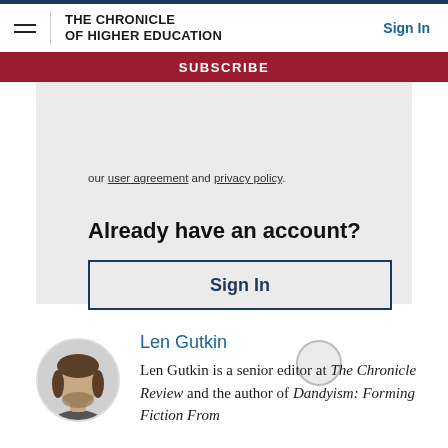THE CHRONICLE OF HIGHER EDUCATION
SUBSCRIBE
our user agreement and privacy policy.
Already have an account?
Sign In
Len Gutkin
Len Gutkin is a senior editor at The Chronicle Review and the author of Dandyism: Forming Fiction From